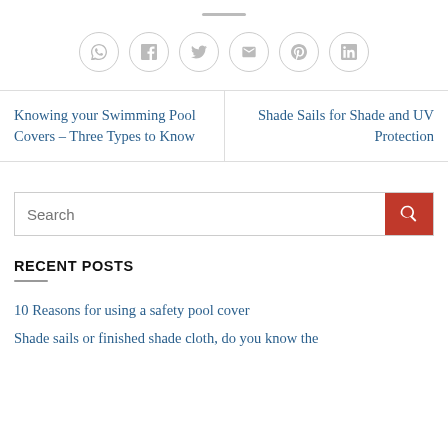[Figure (other): Social share icons row: WhatsApp, Facebook, Twitter, Email, Pinterest, LinkedIn — each in a grey circle]
Knowing your Swimming Pool Covers – Three Types to Know
Shade Sails for Shade and UV Protection
Search
RECENT POSTS
10 Reasons for using a safety pool cover
Shade sails or finished shade cloth, do you know the